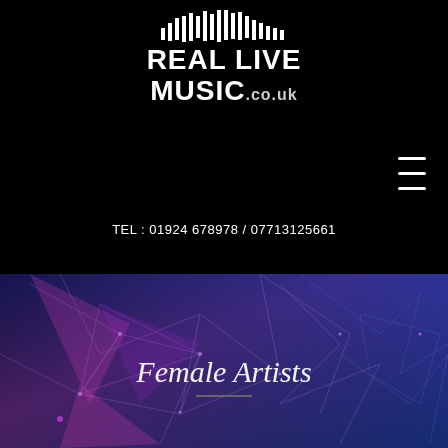[Figure (logo): Real Live Music .co.uk logo with soundwave bars above text, white on black background]
[Figure (infographic): Social media icon buttons: Google (white circle with G), Instagram (grey circle with camera icon), Facebook (grey circle with f icon), and hamburger menu icon]
TEL : 01924 678978 / 07713125661
[Figure (illustration): Purple and blue geometric/polygon network background banner with text 'Female Artists' and a short underline beneath it]